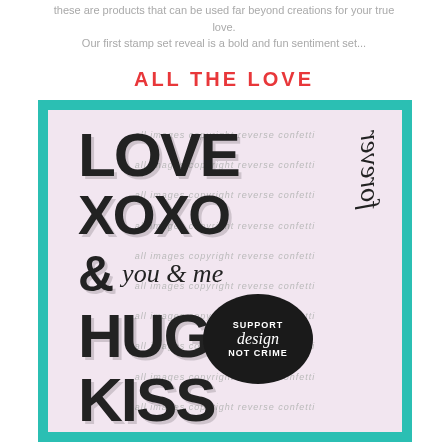these are products that can be used far beyond creations for your true love.
Our first stamp set reveal is a bold and fun sentiment set...
ALL THE LOVE
[Figure (illustration): Stamp set product image showing bold text stamps: LOVE, XOXO, &, you & me, HUGS, KISSES, and 'forever' in script running vertically, with watermark text 'all images copyright reverse confetti' repeated across the background. A circular badge reads 'SUPPORT design NOT CRIME'.]